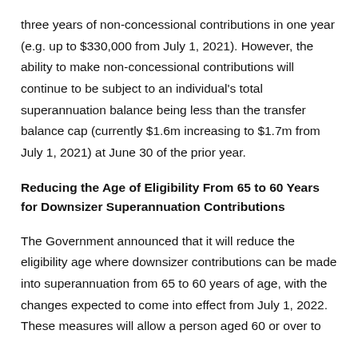three years of non-concessional contributions in one year (e.g. up to $330,000 from July 1, 2021). However, the ability to make non-concessional contributions will continue to be subject to an individual's total superannuation balance being less than the transfer balance cap (currently $1.6m increasing to $1.7m from July 1, 2021) at June 30 of the prior year.
Reducing the Age of Eligibility From 65 to 60 Years for Downsizer Superannuation Contributions
The Government announced that it will reduce the eligibility age where downsizer contributions can be made into superannuation from 65 to 60 years of age, with the changes expected to come into effect from July 1, 2022. These measures will allow a person aged 60 or over to